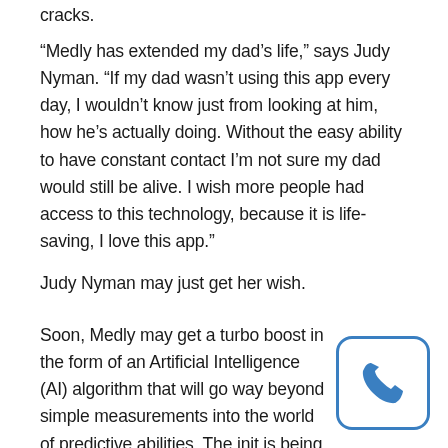cracks.
“Medly has extended my dad’s life,” says Judy Nyman. “If my dad wasn’t using this app every day, I wouldn’t know just from looking at him, how he’s actually doing. Without the easy ability to have constant contact I’m not sure my dad would still be alive. I wish more people had access to this technology, because it is life-saving, I love this app.”
Judy Nyman may just get her wish.
Soon, Medly may get a turbo boost in the form of an Artificial Intelligence (AI) algorithm that will go way beyond simple measurements into the world of predictive abilities. The init is being supported by the Vector Institut